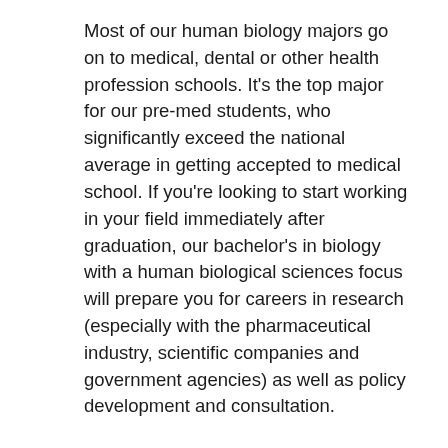Most of our human biology majors go on to medical, dental or other health profession schools. It's the top major for our pre-med students, who significantly exceed the national average in getting accepted to medical school. If you're looking to start working in your field immediately after graduation, our bachelor's in biology with a human biological sciences focus will prepare you for careers in research (especially with the pharmaceutical industry, scientific companies and government agencies) as well as policy development and consultation.
Human biology jobs
What jobs can you get with a biology degree? Some of our biology majors with a human biology...